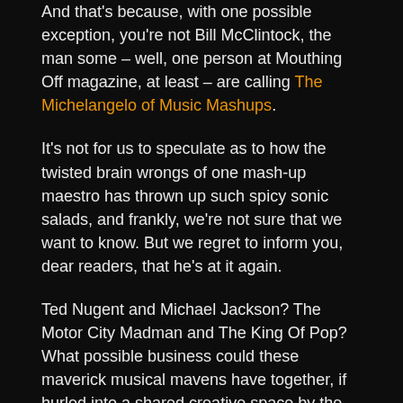And that's because, with one possible exception, you're not Bill McClintock, the man some – well, one person at Mouthing Off magazine, at least – are calling The Michelangelo of Music Mashups.
It's not for us to speculate as to how the twisted brain wrongs of one mash-up maestro has thrown up such spicy sonic salads, and frankly, we're not sure that we want to know. But we regret to inform you, dear readers, that he's at it again.
Ted Nugent and Michael Jackson? The Motor City Madman and The King Of Pop? What possible business could these maverick musical mavens have together, if hurled into a shared creative space by the forces of the universe? Would they really want to marry The Nuge's Hey Baby with Jacko's Black Or White?